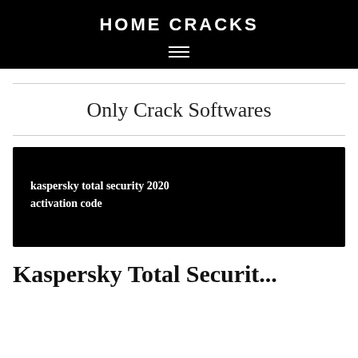HOME CRACKS
Only Crack Softwares
[Figure (photo): Black banner image with white bold text reading 'kaspersky total security 2020 activation code']
Kaspersky Total Security 2020